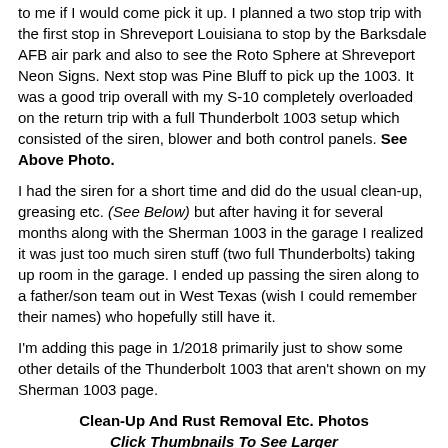to me if I would come pick it up. I planned a two stop trip with the first stop in Shreveport Louisiana to stop by the Barksdale AFB air park and also to see the Roto Sphere at Shreveport Neon Signs. Next stop was Pine Bluff to pick up the 1003. It was a good trip overall with my S-10 completely overloaded on the return trip with a full Thunderbolt 1003 setup which consisted of the siren, blower and both control panels. See Above Photo.
I had the siren for a short time and did do the usual clean-up, greasing etc. (See Below) but after having it for several months along with the Sherman 1003 in the garage I realized it was just too much siren stuff (two full Thunderbolts) taking up room in the garage. I ended up passing the siren along to a father/son team out in West Texas (wish I could remember their names) who hopefully still have it.
I'm adding this page in 1/2018 primarily just to show some other details of the Thunderbolt 1003 that aren't shown on my Sherman 1003 page.
Clean-Up And Rust Removal Etc. Photos
Click Thumbnails To See Larger